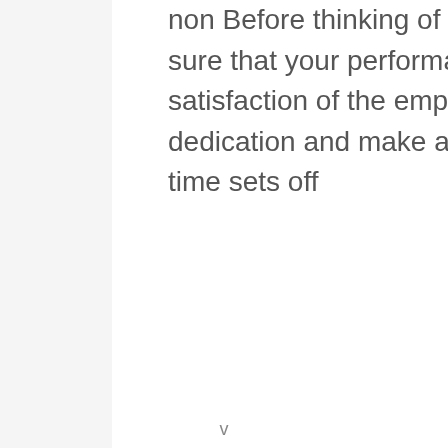non Before thinking of getting the maternity leave make sure that your performance on the job is up to the satisfaction of the employer and one has to work with full dedication and make a positive impact before the leave time sets off